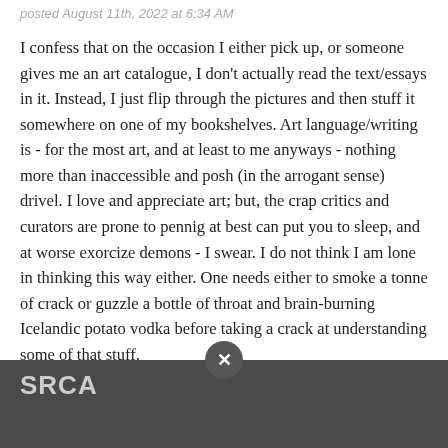posted August 11th, 2022 at 6:34 AM
I confess that on the occasion I either pick up, or someone gives me an art catalogue, I don't actually read the text/essays in it. Instead, I just flip through the pictures and then stuff it somewhere on one of my bookshelves. Art language/writing is - for the most art, and at least to me anyways - nothing more than inaccessible and posh (in the arrogant sense) drivel. I love and appreciate art; but, the crap critics and curators are prone to pennig at best can put you to sleep, and at worse exorcize demons - I swear. I do not think I am lone in thinking this way either. One needs either to smoke a tonne of crack or guzzle a bottle of throat and brain-burning Icelandic potato vodka before taking a crack at understanding some of that stuff.
| 👍 17 | 👎 7 | Rating: +10 | 💬 14 |
| --- | --- | --- | --- |
SRCA